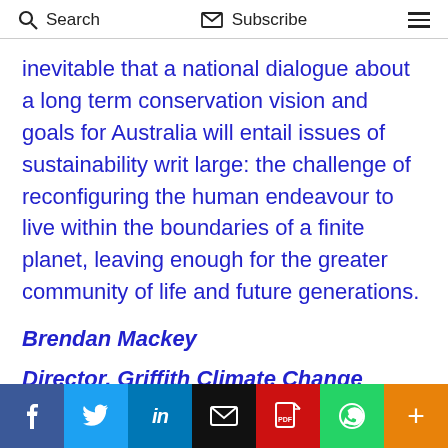Search  Subscribe
inevitable that a national dialogue about a long term conservation vision and goals for Australia will entail issues of sustainability writ large: the challenge of reconfiguring the human endeavour to live within the boundaries of a finite planet, leaving enough for the greater community of life and future generations.
Brendan Mackey
Director, Griffith Climate Change Response Program, Griffith University.
Social share bar: Facebook, Twitter, LinkedIn, Email, PDF, WhatsApp, More